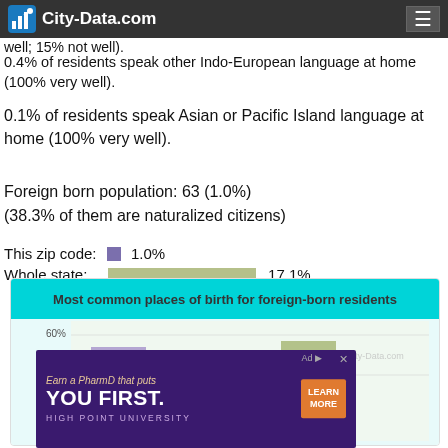City-Data.com
well; 15% not well).
0.4% of residents speak other Indo-European language at home (100% very well).
0.1% of residents speak Asian or Pacific Island language at home (100% very well).
Foreign born population: 63 (1.0%)
(38.3% of them are naturalized citizens)
This zip code: 1.0%
Whole state: 17.1%
[Figure (bar-chart): Most common places of birth for foreign-born residents]
[Figure (other): Advertisement for High Point University PharmD program: 'Earn a PharmD that puts YOU FIRST. HIGH POINT UNIVERSITY']